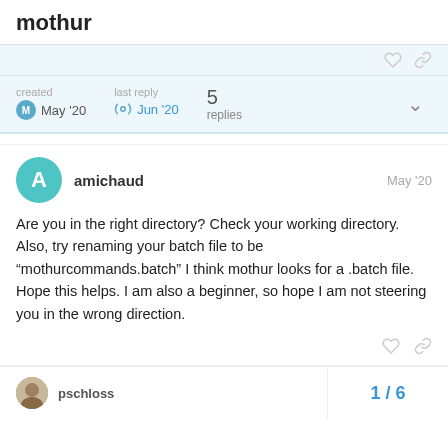mothur
created May '20   last reply Jun '20   5 replies
amichaud   May '20
Are you in the right directory? Check your working directory. Also, try renaming your batch file to be “mothurcommands.batch” I think mothur looks for a .batch file. Hope this helps. I am also a beginner, so hope I am not steering you in the wrong direction.
pschloss   1 / 6